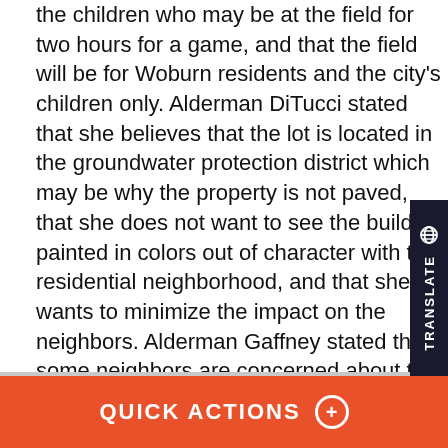the children who may be at the field for two hours for a game, and that the field will be for Woburn residents and the city's children only. Alderman DiTucci stated that she believes that the lot is located in the groundwater protection district which may be why the property is not paved, that she does not want to see the building painted in colors out of character with the residential neighborhood, and that she wants to minimize the impact on the neighbors. Alderman Gaffney stated that some neighbors are concerned about the possibility of a dumpster at the park. Alderman Anderson stated that there are no bathrooms or concession at the Woburn Memorial High School fields, and that these facilities are needed at the High School. Alderman Drapeau stated that he recently assisted with the construction of such a facility in Lexington, that security is necessary, that there should be
QUICK ACTIONS